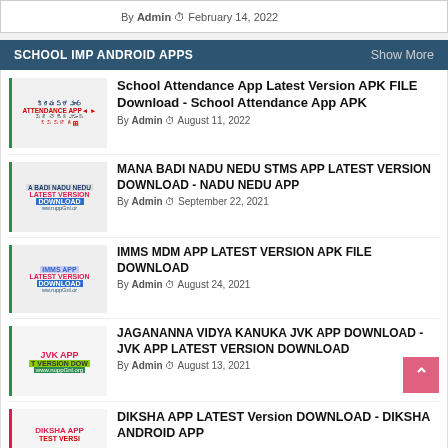By Admin  February 14, 2022
SCHOOL IMP ANDROID APPS  Show More
School Attendance App Latest Version APK FILE Download - School Attendance App APK
By Admin  August 11, 2022
MANA BADI NADU NEDU STMS APP LATEST VERSION DOWNLOAD - NADU NEDU APP
By Admin  September 22, 2021
IMMS MDM APP LATEST VERSION APK FILE DOWNLOAD
By Admin  August 24, 2021
JAGANANNA VIDYA KANUKA JVK APP DOWNLOAD - JVK APP LATEST VERSION DOWNLOAD
By Admin  August 13, 2021
DIKSHA APP LATEST Version DOWNLOAD - DIKSHA ANDROID APP